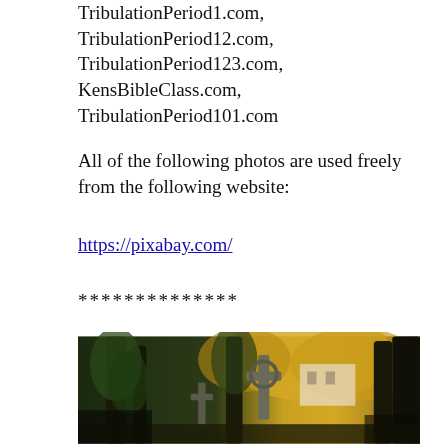TribulationPeriod1.com, TribulationPeriod12.com, TribulationPeriod123.com, KensBibleClass.com, TribulationPeriod101.com
All of the following photos are used freely from the following website:
https://pixabay.com/
**************
[Figure (photo): Outdoor cemetery or churchyard scene with stone cross monuments, large trees with ivy, and autumn foliage in the background with a white building partially visible]